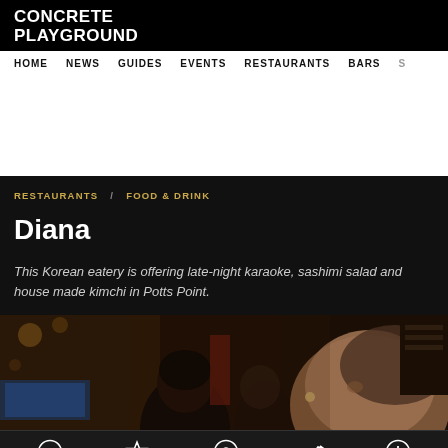CONCRETE PLAYGROUND
HOME  NEWS  GUIDES  EVENTS  RESTAURANTS  BARS  S
RESTAURANTS  /  FOOD & DRINK
Diana
This Korean eatery is offering late-night karaoke, sashimi salad and house made kimchi in Potts Point.
[Figure (photo): Dark restaurant interior photo showing people socializing and laughing inside Diana restaurant in Potts Point]
Home  Featured  Nearby  Popular  Latest